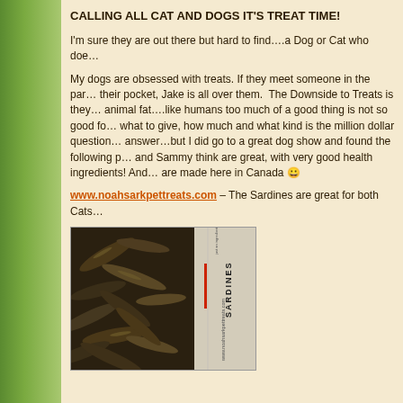CALLING ALL CAT AND DOGS IT'S TREAT TIME!
I'm sure they are out there but hard to find….a Dog or Cat who doe…
My dogs are obsessed with treats. If they meet someone in the par… their pocket, Jake is all over them. The Downside to Treats is they… animal fat….like humans too much of a good thing is not so good fo… what to give, how much and what kind is the million dollar question… answer…but I did go to a great dog show and found the following p… and Sammy think are great, with very good health ingredients! And… are made here in Canada 😀
www.noahsarkpettreats.com – The Sardines are great for both Cats…
[Figure (photo): Photo of dried sardine pet treats in a clear plastic bag with a product label reading SARDINES, brand www.noahsarkpettreats.com]